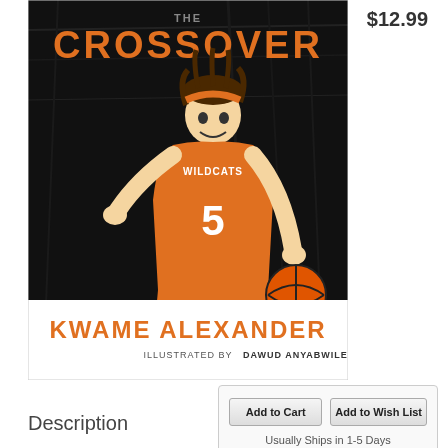[Figure (illustration): Book cover of 'The Crossover' - graphic novel/illustrated book. Black background with an illustrated basketball player wearing an orange Wildcats #5 jersey dribbling a basketball. Title 'The Crossover' in orange letters at top. Author 'KWAME ALEXANDER' in orange letters at bottom. 'ILLUSTRATED BY DAWUD ANYABWILE' in smaller text below author name.]
$12.99
Add to Cart
Add to Wish List
Usually Ships in 1-5 Days
Description